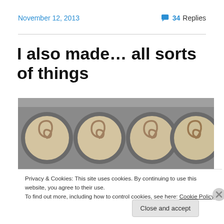November 12, 2013
34 Replies
I also made… all sorts of things
[Figure (photo): Four cinnamon rolls in a dark metal muffin/baking pan, viewed from above, showing swirled dough spirals.]
Privacy & Cookies: This site uses cookies. By continuing to use this website, you agree to their use.
To find out more, including how to control cookies, see here: Cookie Policy